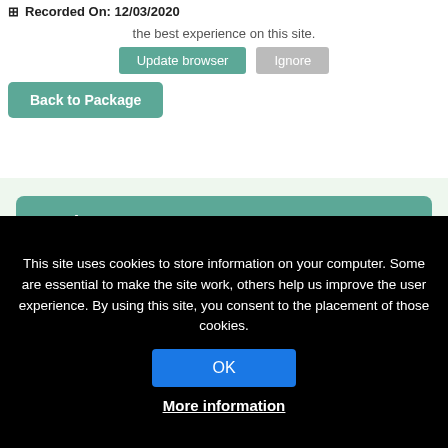Recorded On: 12/03/2020
for more security, speed and the best experience on this site.
Update browser   Ignore
Back to Package
Register
Already registered? Log in now.
Overview   Speaker(s)   Contents (6)
Respect among coworkers provides an important
This site uses cookies to store information on your computer. Some are essential to make the site work, others help us improve the user experience. By using this site, you consent to the placement of those cookies.
OK
More information
and buy-in from the top. Dr. Davis will explore what roles